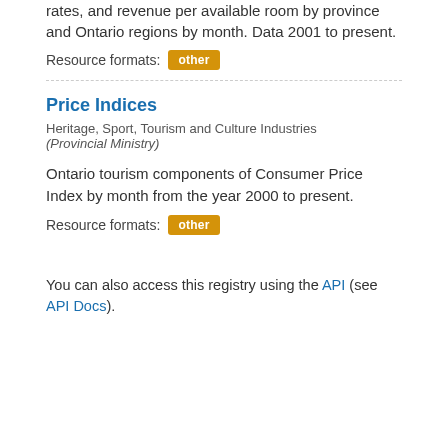rates, and revenue per available room by province and Ontario regions by month. Data 2001 to present.
Resource formats: other
Price Indices
Heritage, Sport, Tourism and Culture Industries (Provincial Ministry)
Ontario tourism components of Consumer Price Index by month from the year 2000 to present.
Resource formats: other
You can also access this registry using the API (see API Docs).